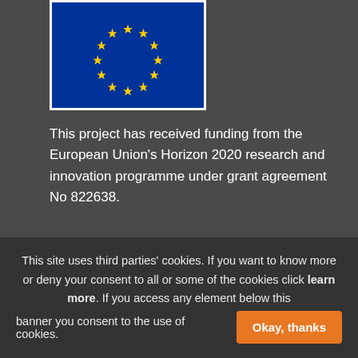[Figure (illustration): European Union flag — circle of 12 yellow stars on blue background]
This project has received funding from the European Union's Horizon 2020 research and innovation programme under grant agreement No 822638.
FOLLOW US
@projectpluseu
@projectplus.contact
PLUS Platform Labour in Urban Spaces
This site uses third parties' cookies. If you want to know more or deny your consent to all or some of the cookies click learn more. If you access any element below this banner you consent to the use of cookies.